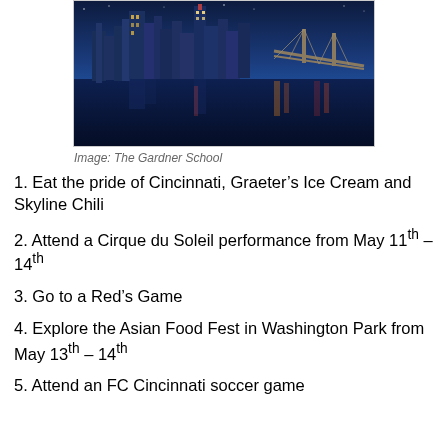[Figure (photo): Cincinnati city skyline at night reflected in water, with a bridge visible on the right]
Image: The Gardner School
1. Eat the pride of Cincinnati, Graeter’s Ice Cream and Skyline Chili
2. Attend a Cirque du Soleil performance from May 11th – 14th
3. Go to a Red’s Game
4. Explore the Asian Food Fest in Washington Park from May 13th – 14th
5. Attend an FC Cincinnati soccer game